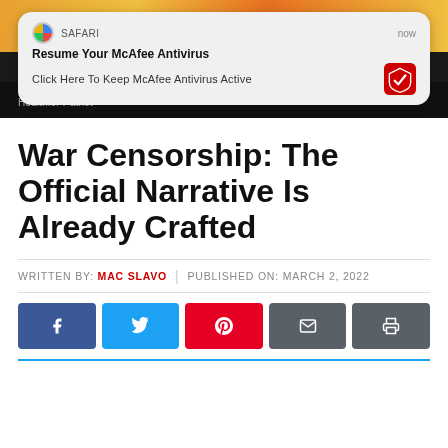[Figure (screenshot): Top portion showing a colorful background image with a Safari browser push notification popup. The popup shows McAfee Antivirus ad: 'Resume Your McAfee Antivirus' / 'Click Here To Keep McAfee Antivirus Active' with McAfee logo. Below is a dark/black bar with text 'Healthier Patriot'.]
War Censorship: The Official Narrative Is Already Crafted
WRITTEN BY: MAC SLAVO | PUBLISHED ON: MARCH 2, 2022
[Figure (infographic): Social sharing buttons row: Facebook (blue), Twitter (light blue), Pinterest (red), Email (dark gray), Print (dark gray)]